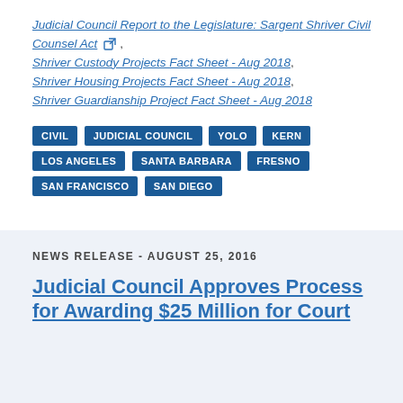Judicial Council Report to the Legislature: Sargent Shriver Civil Counsel Act , Shriver Custody Projects Fact Sheet - Aug 2018, Shriver Housing Projects Fact Sheet - Aug 2018, Shriver Guardianship Project Fact Sheet - Aug 2018
CIVIL   JUDICIAL COUNCIL   YOLO   KERN   LOS ANGELES   SANTA BARBARA   FRESNO   SAN FRANCISCO   SAN DIEGO
NEWS RELEASE - AUGUST 25, 2016
Judicial Council Approves Process for Awarding $25 Million for Court